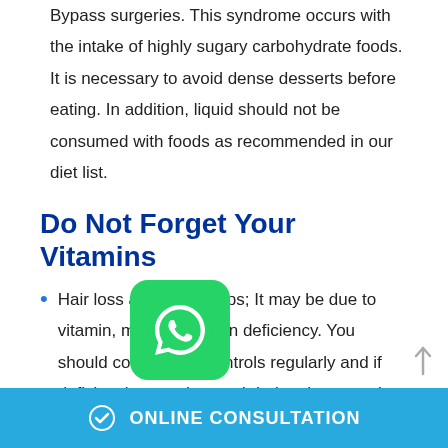Bypass surgeries. This syndrome occurs with the intake of highly sugary carbohydrate foods. It is necessary to avoid dense desserts before eating. In addition, liquid should not be consumed with foods as recommended in our diet list.
Do Not Forget Your Vitamins
Hair loss and leg cramps; It may be due to vitamin, mineral, protein deficiency. You should come to the controls regularly and if deficiencies are detected during the controls, the missing vitamin supplement
[Figure (logo): WhatsApp green icon button]
ONLINE CONSULTATION